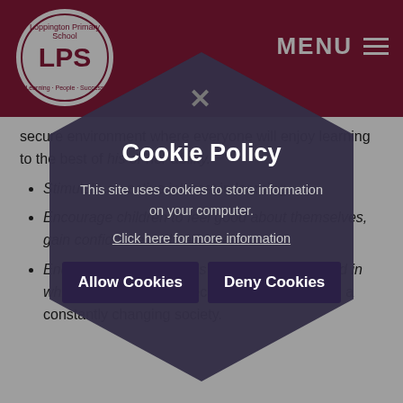LPS — Loppington Primary School — MENU
secure environment where everyone will enjoy learning to the best of his or her ability.
Stimulate an active interest in learning.
Encourage children to feel good about themselves, gain confidence and self-esteem.
Encourage an awareness of the changing world in which we live and the necessary skills to live in a constantly changing society.
[Figure (screenshot): Cookie policy modal overlay with hexagonal dark background shape. Contains title 'Cookie Policy', body text 'This site uses cookies to store information on your computer.', link 'Click here for more information', and two buttons: 'Allow Cookies' and 'Deny Cookies'. A close (X) button appears at the top of the modal.]